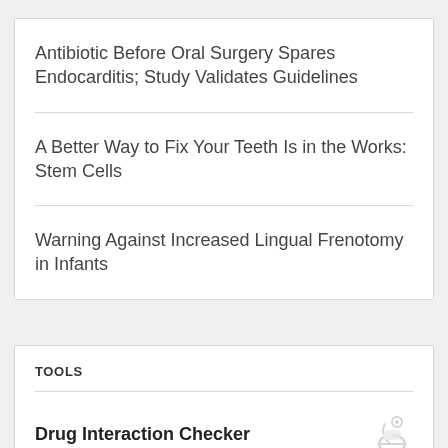Antibiotic Before Oral Surgery Spares Endocarditis; Study Validates Guidelines
A Better Way to Fix Your Teeth Is in the Works: Stem Cells
Warning Against Increased Lingual Frenotomy in Infants
TOOLS
Drug Interaction Checker